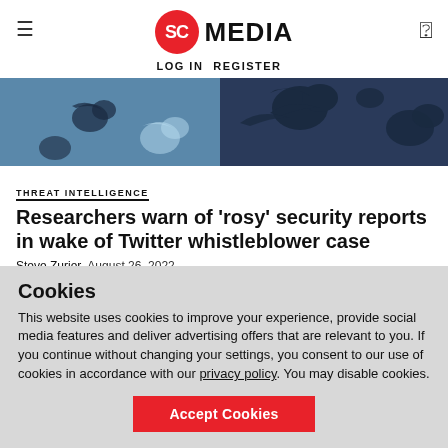SC MEDIA — LOG IN  REGISTER
[Figure (photo): Dark blue background with Twitter bird logo silhouettes pattern]
THREAT INTELLIGENCE
Researchers warn of 'rosy' security reports in wake of Twitter whistleblower case
Steve Zurier  August 26, 2022
Industry pros say security teams have to talk in plain English to top
Cookies
This website uses cookies to improve your experience, provide social media features and deliver advertising offers that are relevant to you. If you continue without changing your settings, you consent to our use of cookies in accordance with our privacy policy. You may disable cookies.
Accept Cookies